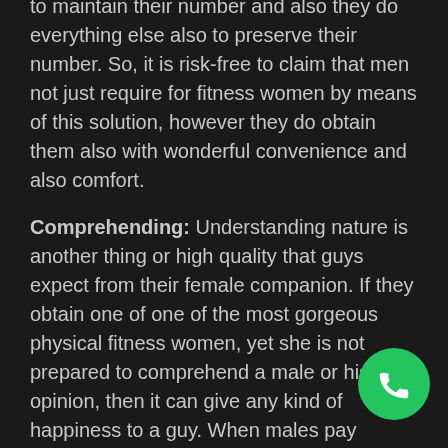to maintain their number and also they do everything else also to preserve their number. So, it is risk-free to claim that men not just require for fitness women by means of this solution, however they do obtain them also with wonderful convenience and also comfort.
Comprehending: Understanding nature is another thing or high quality that guys expect from their female companion. If they obtain one of one of the most gorgeous physical fitness women, yet she is not prepared to comprehend a male or his opinion, then it can give any kind of happiness to a guy. When males pay money to get a buddy, after that they do not want to have any disagreement with their dating partner. They anticipate that lady would recognize their point of view and if he is wrong, after that additionally woman must consider it right. That is something that you find in all the hot Ebony escorts and also if a woman does not have this top quality in her, then she might